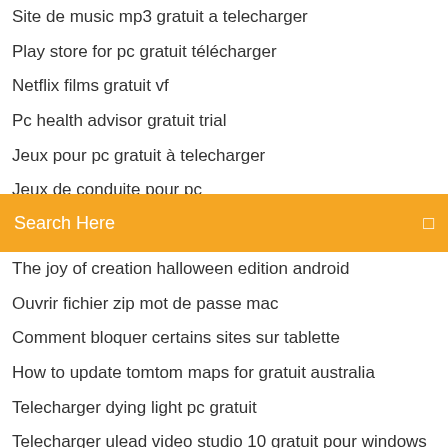Site de music mp3 gratuit a telecharger
Play store for pc gratuit télécharger
Netflix films gratuit vf
Pc health advisor gratuit trial
Jeux pour pc gratuit à telecharger
Jeux de conduite pour pc
Search Here
The joy of creation halloween edition android
Ouvrir fichier zip mot de passe mac
Comment bloquer certains sites sur tablette
How to update tomtom maps for gratuit australia
Telecharger dying light pc gratuit
Telecharger ulead video studio 10 gratuit pour windows 7
Yahoo mail ouverture de session cl
Telecharger winrar 64 windows 10 gratuit
Facebook mise a jour publication
Télécharger naruto ultimate ninja 4 android